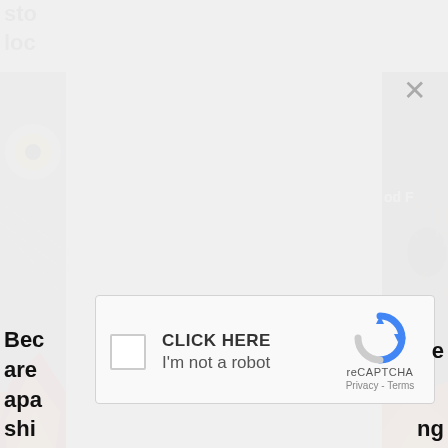sto
loc
[Figure (screenshot): Webpage background showing fishing fly images on left and right edges with partial text content visible, overlaid by a modal dialog]
[Figure (screenshot): reCAPTCHA widget with checkbox, 'CLICK HERE' label, 'I'm not a robot' text, reCAPTCHA logo, and Privacy/Terms links]
Bec
are
apa
shi